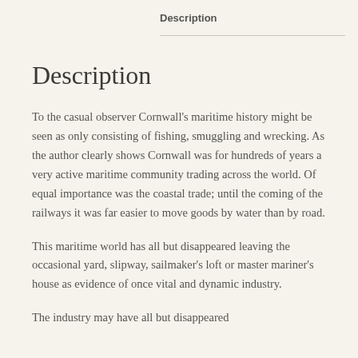Description
Description
To the casual observer Cornwall's maritime history might be seen as only consisting of fishing, smuggling and wrecking. As the author clearly shows Cornwall was for hundreds of years a very active maritime community trading across the world. Of equal importance was the coastal trade; until the coming of the railways it was far easier to move goods by water than by road.
This maritime world has all but disappeared leaving the occasional yard, slipway, sailmaker's loft or master mariner's house as evidence of once vital and dynamic industry.
The industry may have all but disappeared